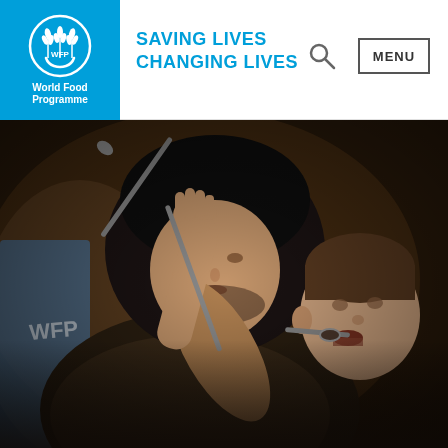[Figure (logo): World Food Programme logo — WFP letters and wheat/hands emblem in white on blue square background, with 'World Food Programme' text in white below]
SAVING LIVES
CHANGING LIVES
[Figure (other): Search icon (magnifying glass)]
MENU
[Figure (photo): Close-up photograph of a woman feeding a young child with a spoon. The woman wears a dark headscarf and patterned clothing. The child has short hair and is taking food from the spoon. Background is dark brown/warm tones. A blue WFP sack is partially visible on the left.]